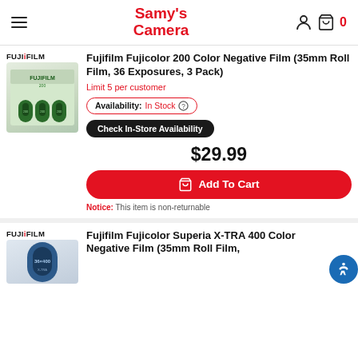Samy's Camera
Fujifilm Fujicolor 200 Color Negative Film (35mm Roll Film, 36 Exposures, 3 Pack)
Limit 5 per customer
Availability: In Stock
Check In-Store Availability
$29.99
Add To Cart
Notice: This item is non-returnable
Fujifilm Fujicolor Superia X-TRA 400 Color Negative Film (35mm Roll Film, ...)